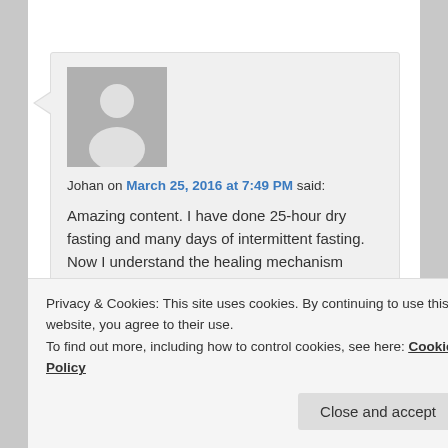[Figure (illustration): Generic user avatar placeholder — grey square with white silhouette of a person (head circle and shoulders)]
Johan on March 25, 2016 at 7:49 PM said:
Amazing content. I have done 25-hour dry fasting and many days of intermittent fasting. Now I understand the healing mechanism behind the simple yet rarely performed magic in the
Privacy & Cookies: This site uses cookies. By continuing to use this website, you agree to their use.
To find out more, including how to control cookies, see here: Cookie Policy
Close and accept